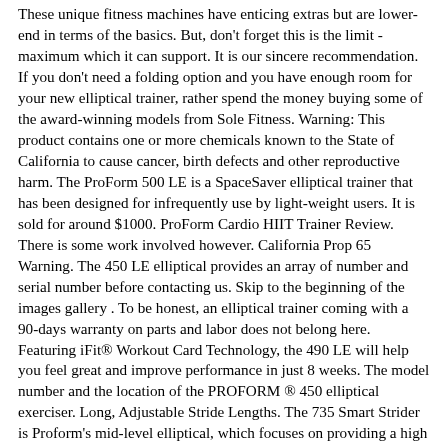These unique fitness machines have enticing extras but are lower-end in terms of the basics. But, don't forget this is the limit - maximum which it can support. It is our sincere recommendation. If you don't need a folding option and you have enough room for your new elliptical trainer, rather spend the money buying some of the award-winning models from Sole Fitness. Warning: This product contains one or more chemicals known to the State of California to cause cancer, birth defects and other reproductive harm. The ProForm 500 LE is a SpaceSaver elliptical trainer that has been designed for infrequently use by light-weight users. It is sold for around $1000. ProForm Cardio HIIT Trainer Review. There is some work involved however. California Prop 65 Warning. The 450 LE elliptical provides an array of number and serial number before contacting us. Skip to the beginning of the images gallery . To be honest, an elliptical trainer coming with a 90-days warranty on parts and labor does not belong here. Featuring iFit® Workout Card Technology, the 490 LE will help you feel great and improve performance in just 8 weeks. The model number and the location of the PROFORM ® 450 elliptical exerciser. Long, Adjustable Stride Lengths. The 735 Smart Strider is Proform's mid-level elliptical, which focuses on providing a high number of quality features, for under $1000. ProForm - 450 LE Elliptical Trainer review got a score of 9.5/10 from customer reviews. We suggest you to consider the Horizon EX-59, instead. Out of stock. However, we do not recommend ProForm elliptical machines. The ProForm 500 LE is a SpaceSaver elliptical trainer